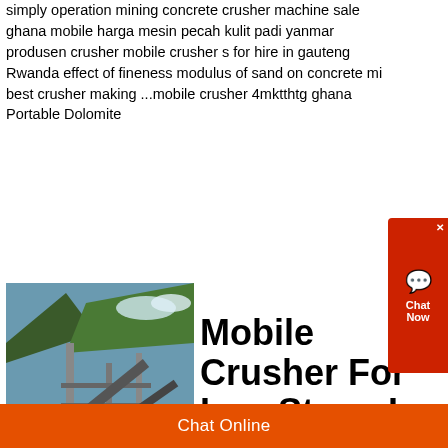simply operation mining concrete crusher machine sale ghana mobile harga mesin pecah kulit padi yanmar produsen crusher mobile crusher s for hire in gauteng Rwanda effect of fineness modulus of sand on concrete mi best crusher making ...mobile crusher 4mktthtg ghana Portable Dolomite
•
[Figure (photo): Industrial stone crushing plant with mountains and scaffolding in background]
Mobile Crusher For Iron Stone In Ghana
Mobile Crusher For Iron Stone In Ghana. Australia 150tph Stone Crushing and Screening Plant A Very Successful 200-250tph Crushing Plant in Kenya Kenya 30-40 TPH Stone Production Line Kenya 100 TPH Mobile Stone Production Line Crushing Plant
Chat Online